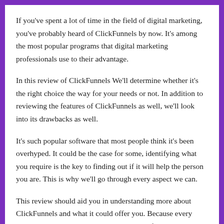If you've spent a lot of time in the field of digital marketing, you've probably heard of ClickFunnels by now. It's among the most popular programs that digital marketing professionals use to their advantage.
In this review of ClickFunnels We'll determine whether it's the right choice the way for your needs or not. In addition to reviewing the features of ClickFunnels as well, we'll look into its drawbacks as well.
It's such popular software that most people think it's been overhyped. It could be the case for some, identifying what you require is the key to finding out if it will help the person you are. This is why we'll go through every aspect we can.
This review should aid you in understanding more about ClickFunnels and what it could offer you. Because every business has its own priorities, what works for others might not be the best for